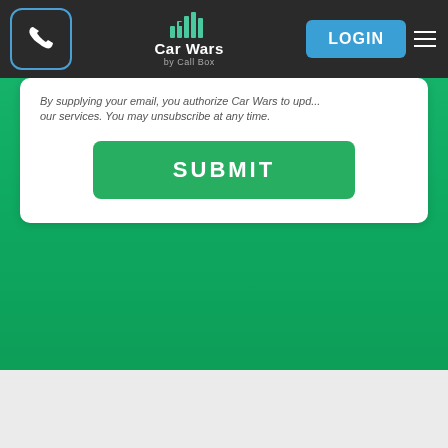Car Wars by Call Box — LOGIN navigation bar
By supplying your email, you authorize Car Wars to update our services. You may unsubscribe at any time.
SUBMIT
The Car Wars platform can send texts to other messaging platforms your dealership uses.
[Figure (logo): Singlethread logo in black and gray text]
[Figure (logo): Gubagoo logo in blue bold text]